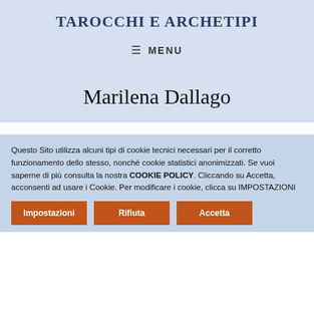TAROCCHI E ARCHETIPI
≡  MENU
Marilena Dallago
Questo Sito utilizza alcuni tipi di cookie tecnici necessari per il corretto funzionamento dello stesso, nonché cookie statistici anonimizzati. Se vuoi saperne di più consulta la nostra COOKIE POLICY. Cliccando su Accetta, acconsenti ad usare i Cookie. Per modificare i cookie, clicca su IMPOSTAZIONI
Impostazioni
Rifiuta
Accetta